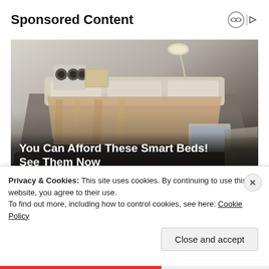Sponsored Content
[Figure (photo): A luxury smart bed with integrated speakers, lamp, storage drawers, recliner attachment, and various tech features, shown in a studio render against a dark gradient background.]
You Can Afford These Smart Beds! See Them Now
Smart Bed | Search Ads
Privacy & Cookies: This site uses cookies. By continuing to use this website, you agree to their use.
To find out more, including how to control cookies, see here: Cookie Policy
Close and accept